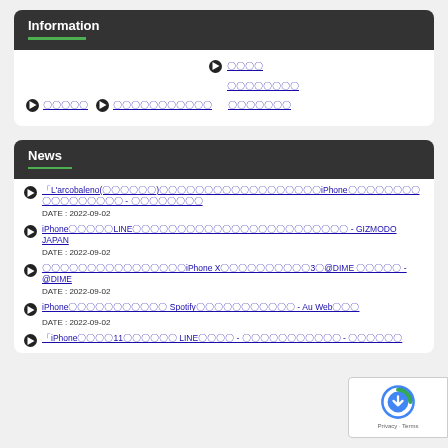Information
〇〇〇〇 〇〇〇〇〇〇〇〇 〇〇〇〇〇〇〇
〇〇〇〇〇 〇〇〇〇〇〇〇〇〇〇〇 〇〇〇〇〇〇〇
News
「L'arcobaleno(〇〇〇〇〇〇)〇〇〇〇〇〇〇〇〇〇〇〇〇〇〇〇〇〇iPhone〇〇〇〇〇〇〇〇〇〇〇〇〇〇〇〇〇 - 〇〇〇〇〇〇〇〇
DATE : 2022-09-02
iPhone〇〇〇〇〇LINE〇〇〇〇〇〇〇〇〇〇〇〇〇〇〇〇〇〇〇〇〇〇〇〇 - GIZMODO JAPAN
DATE : 2022-09-02
〇〇〇〇〇〇〇〇〇〇〇〇〇〇〇〇iPhone X〇〇〇〇〇〇〇〇〇〇3〇@DIME 〇〇〇〇〇 - @DIME
DATE : 2022-09-02
iPhone〇〇〇〇〇〇〇〇〇〇〇 Spotify〇〇〇〇〇〇〇〇〇〇〇 - Au Web〇〇〇
DATE : 2022-09-02
「iPhone〇〇〇〇11〇〇〇〇〇〇 LINE〇〇〇〇 - 〇〇〇〇〇〇〇〇〇〇〇 - 〇〇〇〇〇〇